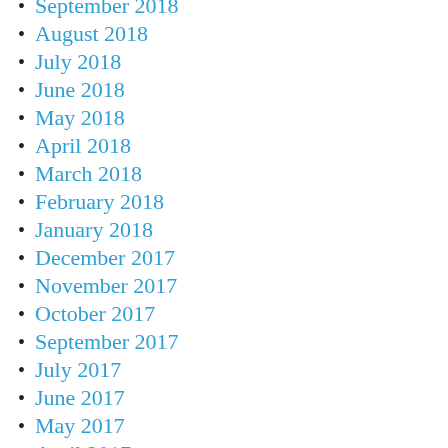September 2018
August 2018
July 2018
June 2018
May 2018
April 2018
March 2018
February 2018
January 2018
December 2017
November 2017
October 2017
September 2017
July 2017
June 2017
May 2017
April 2017